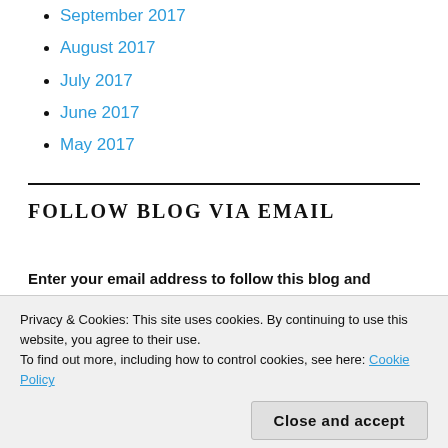September 2017
August 2017
July 2017
June 2017
May 2017
FOLLOW BLOG VIA EMAIL
Enter your email address to follow this blog and
Privacy & Cookies: This site uses cookies. By continuing to use this website, you agree to their use.
To find out more, including how to control cookies, see here: Cookie Policy
Close and accept